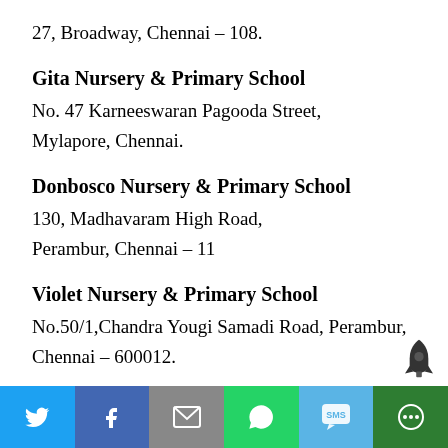27, Broadway, Chennai – 108.
Gita Nursery & Primary School
No. 47 Karneeswaran Pagooda Street,
Mylapore, Chennai.
Donbosco Nursery & Primary School
130, Madhavaram High Road,
Perambur, Chennai – 11
Violet Nursery & Primary School
No.50/1,Chandra Yougi Samadi Road, Perambur,
Chennai – 600012.
[Figure (other): Social share toolbar with Twitter, Facebook, Email, WhatsApp, SMS, and More icons]